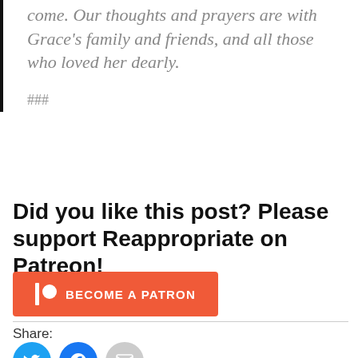come. Our thoughts and prayers are with Grace's family and friends, and all those who loved her dearly.
###
Did you like this post? Please support Reappropriate on Patreon!
[Figure (other): Patreon 'Become a Patron' button with Patreon logo icon on orange/red background]
Share:
[Figure (other): Social sharing icons: Twitter (blue circle), Facebook (blue circle), Email (gray circle)]